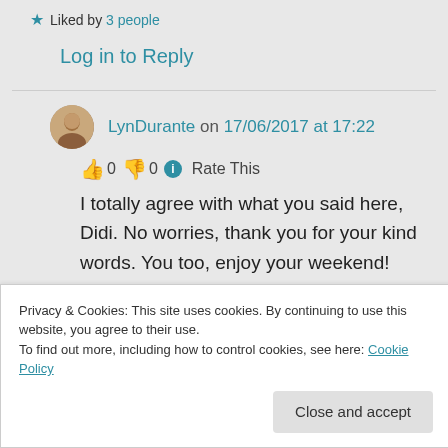★ Liked by 3 people
Log in to Reply
LynDurante on 17/06/2017 at 17:22
👍 0 👎 0 ℹ Rate This
I totally agree with what you said here, Didi. No worries, thank you for your kind words. You too, enjoy your weekend!
Privacy & Cookies: This site uses cookies. By continuing to use this website, you agree to their use.
To find out more, including how to control cookies, see here: Cookie Policy